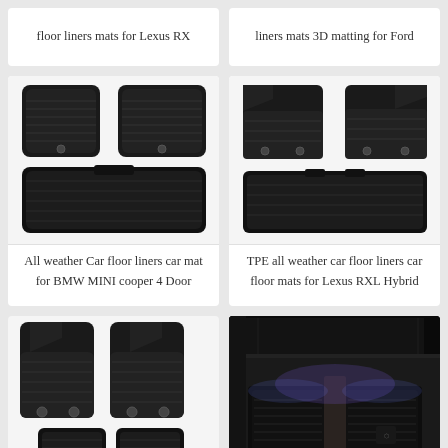floor liners mats for Lexus RX
liners mats 3D matting for Ford
[Figure (photo): Set of black rubber all-weather car floor mats for BMW MINI cooper 4 Door, showing front and rear mats]
All weather Car floor liners car mat for BMW MINI cooper 4 Door
[Figure (photo): Set of black TPE all-weather car floor mats for Lexus RXL Hybrid, showing front and rear mats]
TPE all weather car floor liners car floor mats for Lexus RXL Hybrid
[Figure (photo): Set of black rubber car floor mats, showing front mats and partial rear mat]
[Figure (photo): Interior photo of a car showing installed black floor mats with ambient lighting]